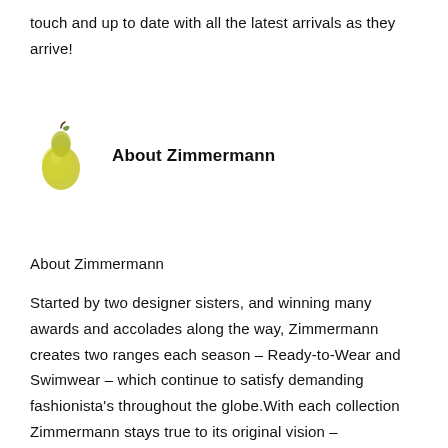touch and up to date with all the latest arrivals as they arrive!
[Figure (illustration): A yellow-green pear illustration next to the text 'About Zimmermann']
About Zimmermann
Started by two designer sisters, and winning many awards and accolades along the way, Zimmermann creates two ranges each season – Ready-to-Wear and Swimwear – which continue to satisfy demanding fashionista's throughout the globe.With each collection Zimmermann stays true to its original vision – womenswear with sophisticated femininity, strong silhouettes, interesting colour combinations and delicate unique prints. A bikini, swimsuit or womenswear